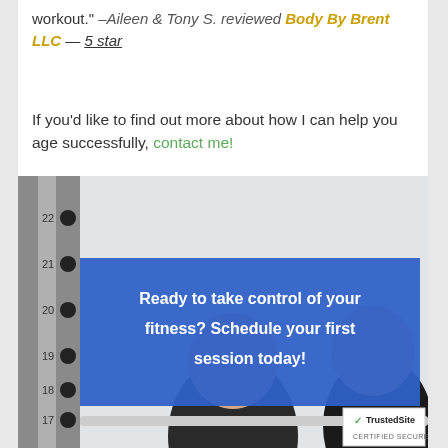workout." –Aileen & Tony S. reviewed Body By Brent LLC — 5 star
If you'd like to find out more about how I can help you age successfully, contact me!
[Figure (photo): Gym photo showing two men near a weight rack with numbered markings (15-22). A blue semi-transparent overlay reads: 'Ready to take control of your fitness? Schedule your first session today!']
[Figure (logo): TrustedSite certified secure badge in bottom right corner]